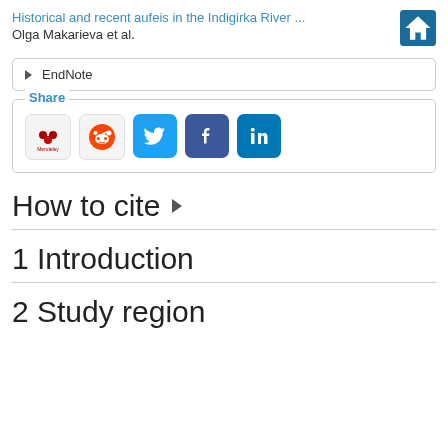Historical and recent aufeis in the Indigirka River ...
Olga Makarieva et al.
EndNote
Share
[Figure (screenshot): Social sharing icons: Mendeley, Reddit, Twitter, Facebook, LinkedIn]
How to cite ▶
1 Introduction
2 Study region